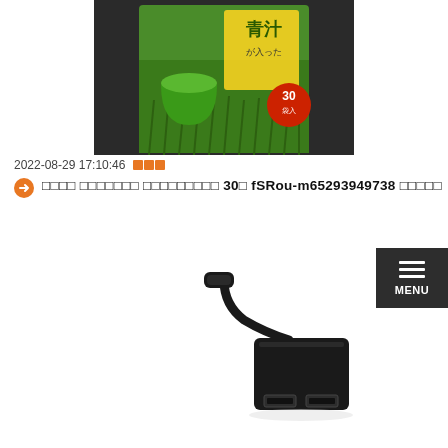[Figure (photo): Product photo of a Japanese green juice (青汁) box, showing a cup of green liquid and a field of green plants, labeled '30袋入' (30 packets). Product on dark background.]
2022-08-29 17:10:46  [orange squares]
→ □□□□ □□□□□□□ □□□□□□□□□ 30□ fSRou-m65293949738 □□□□□
[Figure (photo): Product photo of a black USB-C to dual HDMI adapter/hub on white background.]